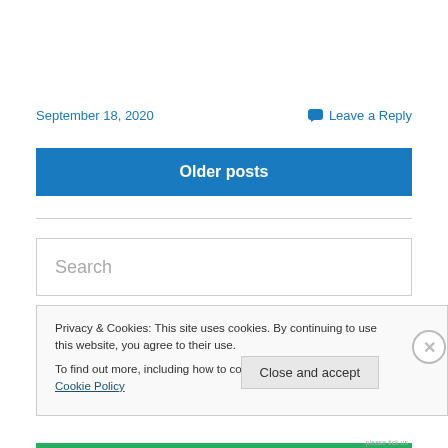September 18, 2020
Leave a Reply
Older posts
Search
Privacy & Cookies: This site uses cookies. By continuing to use this website, you agree to their use.
To find out more, including how to control cookies, see here: Cookie Policy
Close and accept